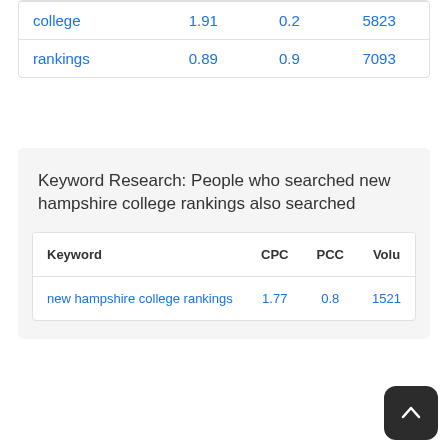| Keyword | CPC | PCC | Volu |
| --- | --- | --- | --- |
| college | 1.91 | 0.2 | 5823 |
| rankings | 0.89 | 0.9 | 7093 |
Keyword Research: People who searched new hampshire college rankings also searched
| Keyword | CPC | PCC | Volu |
| --- | --- | --- | --- |
| new hampshire college rankings | 1.77 | 0.8 | 1521 |